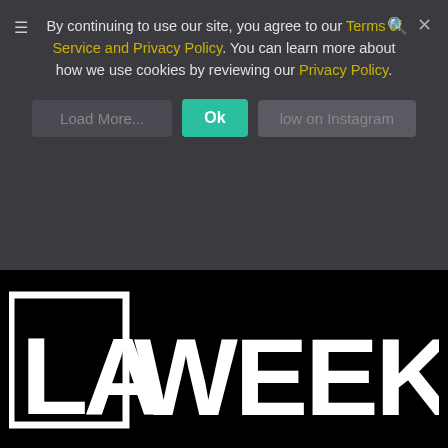By continuing to use our site, you agree to our Terms of Service and Privacy Policy. You can learn more about how we use cookies by reviewing our Privacy Policy.
Load More...
Ok
low on Instagram
[Figure (logo): LA Weekly logo — white bold text 'LA' in a box border and 'WEEKLY' on a black background]